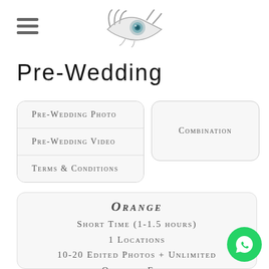[Figure (logo): Eye/camera logo with stylized eyelashes in gray]
PRE-WEDDING
Pre-Wedding Photo
Pre-Wedding Video
Combination
Terms & Conditions
ORANGE
Short Time (1-1.5 hours)
1 Locations
10-20 Edited Photos + Unlimited Original Files